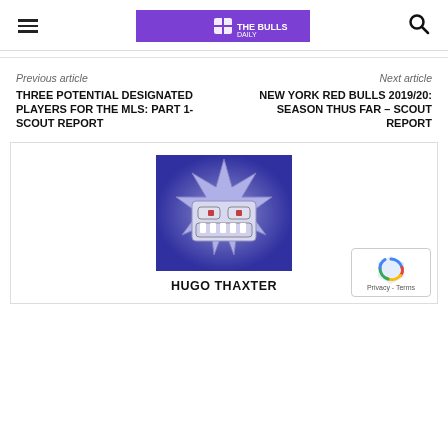The Bulls Daily — navigation header with hamburger menu, logo, and search icon
Previous article
Next article
THREE POTENTIAL DESIGNATED PLAYERS FOR THE MLS: PART 1- SCOUT REPORT
NEW YORK RED BULLS 2019/20: SEASON THUS FAR – SCOUT REPORT
[Figure (illustration): Avatar illustration of a spiky star-shaped creature with wide eyes and sharp teeth, blue/purple gradient background]
HUGO THAXTER